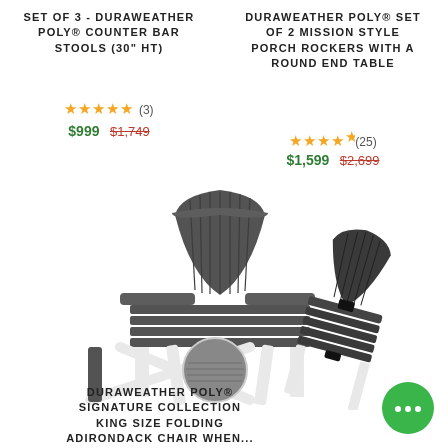SET OF 3 - DURAWEATHER POLY® COUNTER BAR STOOLS (30" HT)
★★★★★ (3)
$999  $1,749
DURAWEATHER POLY® SET OF 2 MISSION STYLE PORCH ROCKERS WITH A ROUND END TABLE
★★★★½ (25)
$1,599  $2,699
[Figure (photo): Gray DuraWeather Poly Adirondack folding chair shown open and partially closed, with a circular color swatch inset showing gray texture]
DURAWEATHER POLY® SIGNATURE COLLECTION KING SIZE FOLDING ADIRONDACK CHAIR WHEN...